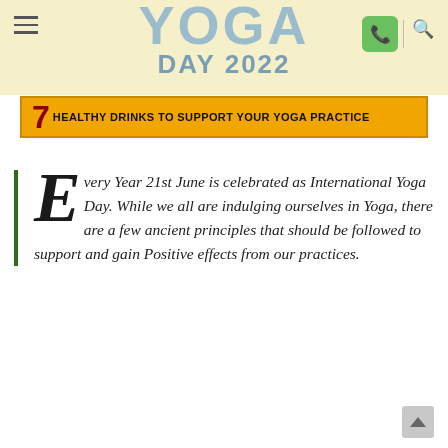YOGA DAY 2022
[Figure (infographic): Website header banner with YOGA DAY 2022 text in blue/grey, hamburger menu icon on left, green phone button and search icon on right, on a pale yellow background]
7 HEALTHY DRINKS TO SUPPORT YOUR YOGA PRACTICE
Every Year 21st June is celebrated as International Yoga Day. While we all are indulging ourselves in Yoga, there are a few ancient principles that should be followed to support and gain Positive effects from our practices.
International Yoga Day - Importance of this Day